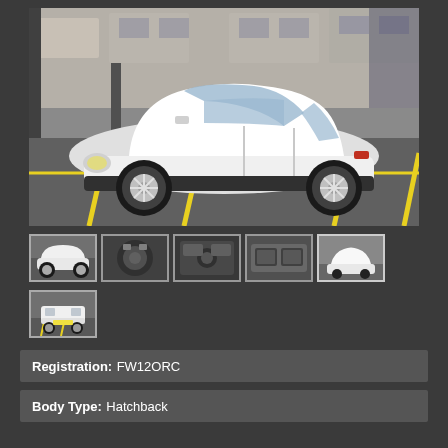[Figure (photo): Main photo of a white Kia Picanto hatchback parked in a yellow-lined car park, viewed from the side. A dealership building is visible in the background.]
[Figure (photo): Thumbnail 1: Front/side view of the white Kia Picanto hatchback]
[Figure (photo): Thumbnail 2: Engine bay view]
[Figure (photo): Thumbnail 3: Dashboard/interior view]
[Figure (photo): Thumbnail 4: Rear seat view]
[Figure (photo): Thumbnail 5: Another exterior view of the car]
[Figure (photo): Thumbnail 6: Rear view of the white Kia hatchback]
Registration: FW12ORC
Body Type: Hatchback